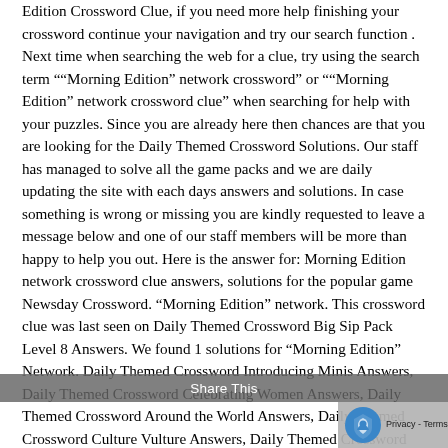Edition Crossword Clue, if you need more help finishing your crossword continue your navigation and try our search function . Next time when searching the web for a clue, try using the search term "“Morning Edition” network crossword" or "“Morning Edition” network crossword clue" when searching for help with your puzzles. Since you are already here then chances are that you are looking for the Daily Themed Crossword Solutions. Our staff has managed to solve all the game packs and we are daily updating the site with each days answers and solutions. In case something is wrong or missing you are kindly requested to leave a message below and one of our staff members will be more than happy to help you out. Here is the answer for: Morning Edition network crossword clue answers, solutions for the popular game Newsday Crossword. "Morning Edition" network. This crossword clue was last seen on Daily Themed Crossword Big Sip Pack Level 8 Answers. We found 1 solutions for "Morning Edition" Network. Daily Themed Crossword Introducing Minis Answers, Daily Themed Crossword Celebrating Women Answers, Daily Themed Crossword Around the World Answers, Daily Themed Crossword Culture Vulture Answers, Daily Themed Crossword Easy Peasy Answers, Daily Themed Crossword Halloween Minis Answers, Daily Themed Crossword Happy Holidays Answers, Daily Themed Crossword Mini Masters Answers, Daily Themed Crossword Musical Minis Answers, Daily Themd Crossword Musical Mondays Answers, Daily Themed Crossword Retro